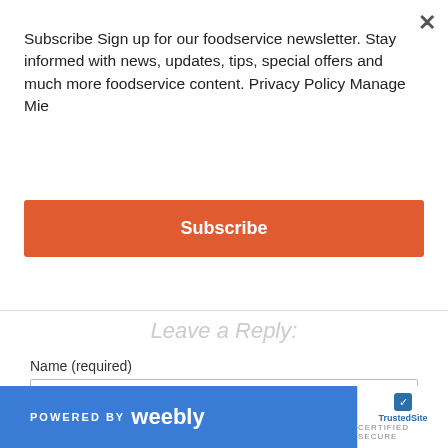Subscribe Sign up for our foodservice newsletter. Stay informed with news, updates, tips, special offers and much more foodservice content. Privacy Policy Manage Mie
Subscribe
Leave a Reply:
Name (required)
Email (not published)
Website
POWERED BY weebly  TrustedSite CERTIFIED SECURE